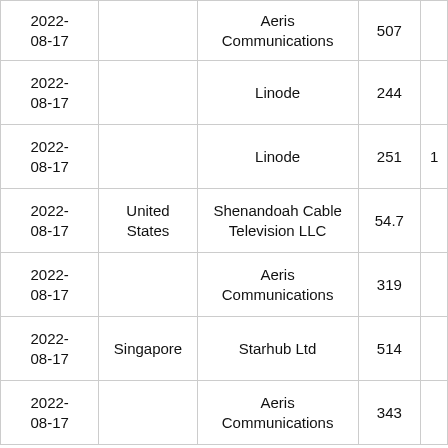| 2022-08-17 |  | Aeris Communications | 507 |  |
| 2022-08-17 |  | Linode | 244 |  |
| 2022-08-17 |  | Linode | 251 | 1 |
| 2022-08-17 | United States | Shenandoah Cable Television LLC | 54.7 |  |
| 2022-08-17 |  | Aeris Communications | 319 |  |
| 2022-08-17 | Singapore | Starhub Ltd | 514 |  |
| 2022-08-17 |  | Aeris Communications | 343 |  |